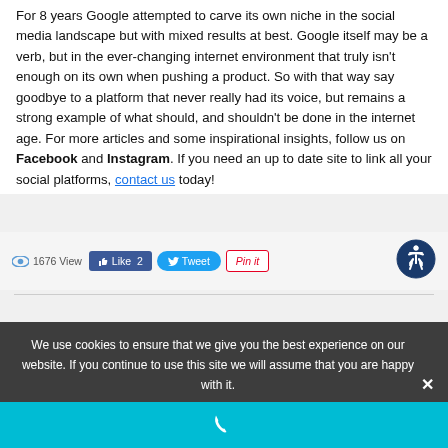For 8 years Google attempted to carve its own niche in the social media landscape but with mixed results at best. Google itself may be a verb, but in the ever-changing internet environment that truly isn't enough on its own when pushing a product. So with that way say goodbye to a platform that never really had its voice, but remains a strong example of what should, and shouldn't be done in the internet age. For more articles and some inspirational insights, follow us on Facebook and Instagram. If you need an up to date site to link all your social platforms, contact us today!
[Figure (infographic): Social share bar with eye/view count (1676 View), Facebook Like button (Like 2), Twitter Tweet button, Pinterest Pin it button, and accessibility icon]
We use cookies to ensure that we give you the best experience on our website. If you continue to use this site we will assume that you are happy with it.
[Figure (infographic): Cyan/teal phone bar at bottom with white phone handset icon]